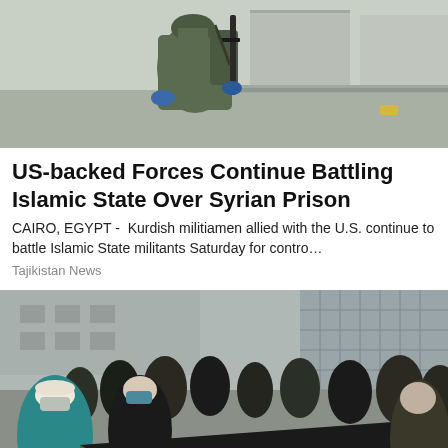[Figure (photo): A soldier or armed figure in olive/green gear with weapon, wearing blue gloves, photographed from behind/side against a grey urban outdoor background.]
US-backed Forces Continue Battling Islamic State Over Syrian Prison
CAIRO, EGYPT -  Kurdish militiamen allied with the U.S. continue to battle Islamic State militants Saturday for contro…
Tajikistan News
[Figure (photo): A crowd of people wearing face masks at an outdoor protest in an urban setting, holding a large Palestinian flag (black, white, green, red). Modern glass office buildings visible in background.]